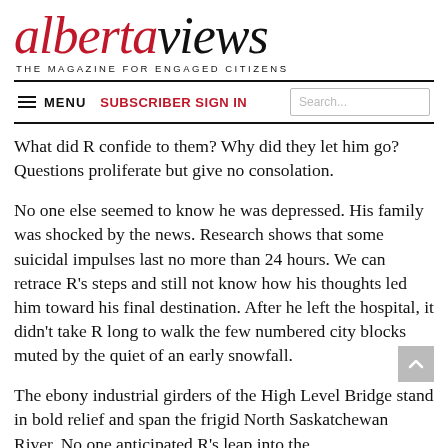albertaviews — THE MAGAZINE FOR ENGAGED CITIZENS
What did R confide to them? Why did they let him go? Questions proliferate but give no consolation.
No one else seemed to know he was depressed. His family was shocked by the news. Research shows that some suicidal impulses last no more than 24 hours. We can retrace R's steps and still not know how his thoughts led him toward his final destination. After he left the hospital, it didn't take R long to walk the few numbered city blocks muted by the quiet of an early snowfall.
The ebony industrial girders of the High Level Bridge stand in bold relief and span the frigid North Saskatchewan River. No one anticipated R's leap into the